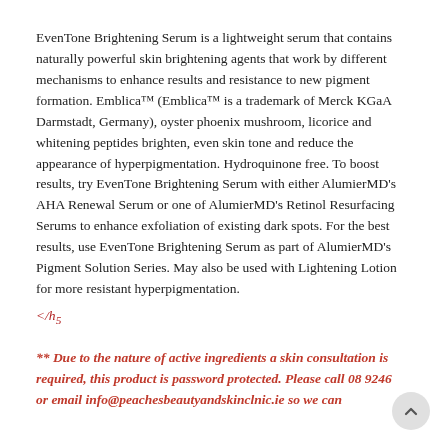EvenTone Brightening Serum is a lightweight serum that contains naturally powerful skin brightening agents that work by different mechanisms to enhance results and resistance to new pigment formation. Emblica™ (Emblica™ is a trademark of Merck KGaA Darmstadt, Germany), oyster phoenix mushroom, licorice and whitening peptides brighten, even skin tone and reduce the appearance of hyperpigmentation. Hydroquinone free. To boost results, try EvenTone Brightening Serum with either AlumierMD's AHA Renewal Serum or one of AlumierMD's Retinol Resurfacing Serums to enhance exfoliation of existing dark spots. For the best results, use EvenTone Brightening Serum as part of AlumierMD's Pigment Solution Series. May also be used with Lightening Lotion for more resistant hyperpigmentation.
</h5
** Due to the nature of active ingredients a skin consultation is required, this product is password protected. Please call 08 9246 or email info@peachesbeautyandskinclnic.ie so we can